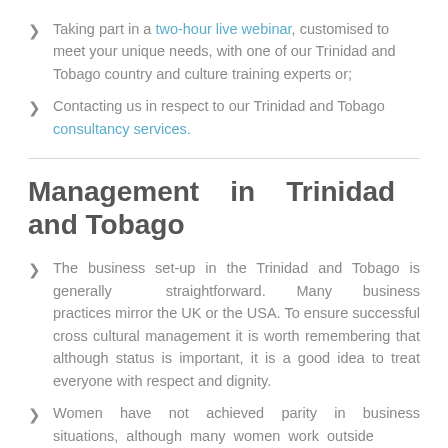Taking part in a two-hour live webinar, customised to meet your unique needs, with one of our Trinidad and Tobago country and culture training experts or;
Contacting us in respect to our Trinidad and Tobago consultancy services.
Management in Trinidad and Tobago
The business set-up in the Trinidad and Tobago is generally straightforward. Many business practices mirror the UK or the USA. To ensure successful cross cultural management it is worth remembering that although status is important, it is a good idea to treat everyone with respect and dignity.
Women have not achieved parity in business situations, although many women work outside